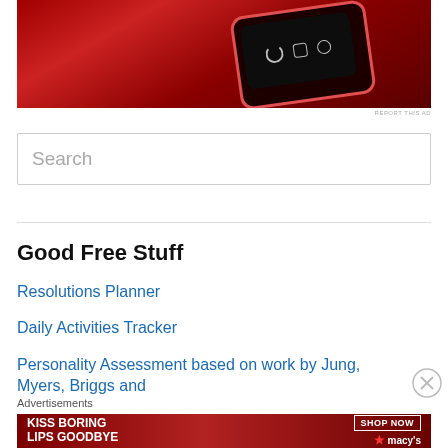[Figure (photo): Red smartphone on a red background, showing screen with icons, viewed from above at an angle. Part of an advertisement.]
REPORT THIS AD
Search
Good Free Stuff
Resolutions Planner
Daily Activities Tracker
Personality Assessment based on work by Jung, Myers, Briggs and
Advertisements
[Figure (photo): Macy's advertisement banner: 'KISS BORING LIPS GOODBYE' with a woman's face showing red lips, and a 'SHOP NOW' button with Macy's star logo.]